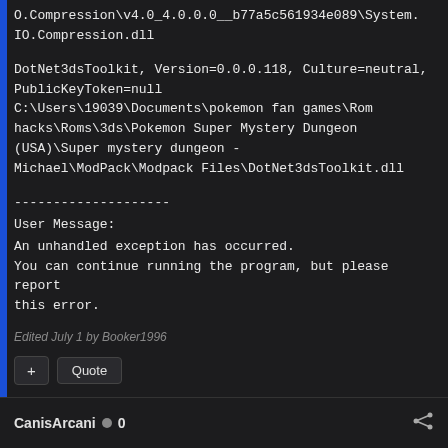O.Compression\v4.0_4.0.0.0__b77a5c561934e089\System.IO.Compression.dll
DotNet3dsToolkit, Version=0.0.0.118, Culture=neutral, PublicKeyToken=null
C:\Users\19039\Documents\pokemon fan games\Romhacks\Roms\3ds\Pokemon Super Mystery Dungeon (USA)\Super mystery dungeon - Michael\ModPack\Modpack Files\DotNet3dsToolkit.dll
--------------------
User Message:
An unhandled exception has occurred.
You can continue running the program, but please report this error.
Edited July 1 by Booker1996
+ Quote
CanisArcani  0